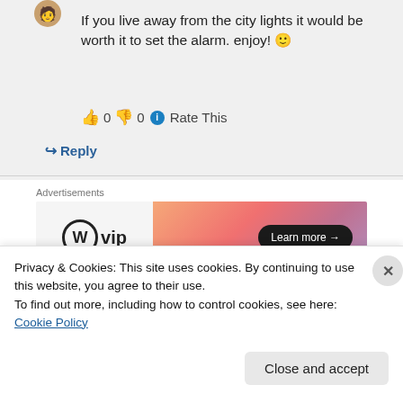If you live away from the city lights it would be worth it to set the alarm. enjoy! 🙂
👍 0 👎 0 ℹ Rate This
↪ Reply
Advertisements
[Figure (other): WordPress VIP advertisement banner with gradient orange-pink background and 'Learn more →' button]
REPORT THIS AD
Privacy & Cookies: This site uses cookies. By continuing to use this website, you agree to their use.
To find out more, including how to control cookies, see here: Cookie Policy
Close and accept